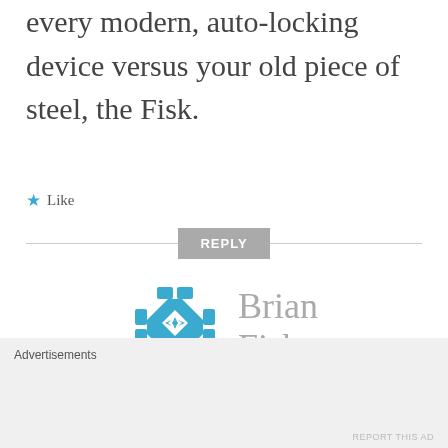every modern, auto-locking device versus your old piece of steel, the Fisk.
★ Like
REPLY
[Figure (logo): Blue geometric puzzle-piece style logo icon for Brian Fisk]
Brian Fisk
Advertisements
REPORT THIS AD